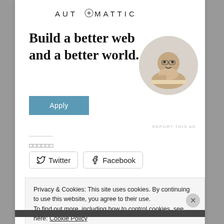[Figure (logo): AUTOMATTIC logo with gear/circle icon replacing the O]
Build a better web and a better world.
[Figure (photo): Circular portrait photo of a man thinking, resting chin on hand]
[Figure (other): Blue Apply button]
REPORT THIS AD
□□□□□□
[Figure (other): Twitter share button]
[Figure (other): Facebook share button]
Privacy & Cookies: This site uses cookies. By continuing to use this website, you agree to their use.
To find out more, including how to control cookies, see here: Cookie Policy
Close and accept